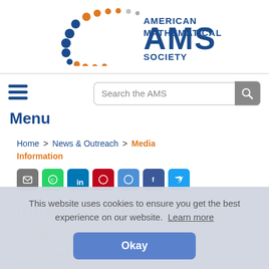[Figure (logo): American Mathematical Society (AMS) logo with colorful dot arc pattern and blue AMS text]
[Figure (screenshot): Search bar with placeholder 'Search the AMS' and a grey search button with magnifying glass icon]
Menu
Home > News & Outreach > Media Information
[Figure (screenshot): Row of social share icon buttons: email (grey), WhatsApp (green), LinkedIn (blue), Pinterest (red), share (blue), Facebook (navy), Twitter (light blue)]
This website uses cookies to ensure you get the best experience on our website. Learn more
Okay
Information for Journalists and Correspondents